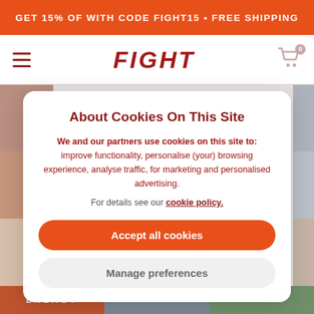GET 15% OF WITH CODE FIGHT15 • FREE SHIPPING
FIGHT
[Figure (screenshot): Website cookie consent modal overlay on top of a fitness/supplement website with orange promo banner, FIGHT logo, hamburger menu, cart icon, and background product/lifestyle images.]
About Cookies On This Site
We and our partners use cookies on this site to: improve functionality, personalise (your) browsing experience, analyse traffic, for marketing and personalised advertising.
For details see our cookie policy.
Accept all cookies
Manage preferences